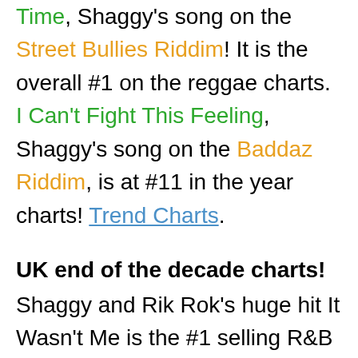Time, Shaggy's song on the Street Bullies Riddim! It is the overall #1 on the reggae charts. I Can't Fight This Feeling, Shaggy's song on the Baddaz Riddim, is at #11 in the year charts! Trend Charts.
UK end of the decade charts!
Shaggy and Rik Rok's huge hit It Wasn't Me is the #1 selling R&B single in the UK of the 2000s! It also is the highest selling pop tv